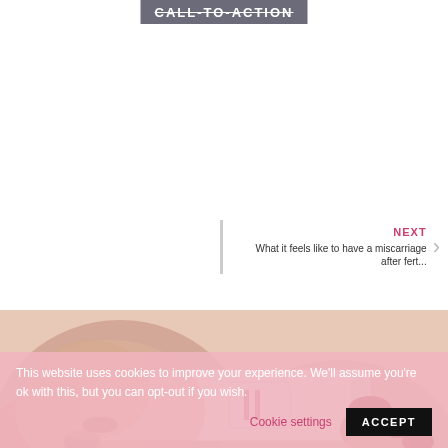CALL-TO-ACTION
NEXT
What it feels like to have a miscarriage after fert...
[Figure (photo): Close-up photo of a person with red nail polish holding a pregnancy test device and closely examining it]
This website uses cookies to improve your experience. We'll assume you're ok with this, but you can opt-out if you wish.  Cookie settings  ACCEPT